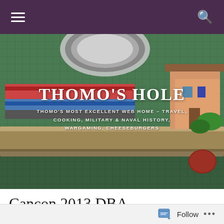Navigation bar with hamburger menu and search icon
[Figure (photo): Hero image showing miniature wargaming figures and terrain pieces on a green cutting mat, with a watch partially visible. Colorful miniature train-like models and a small village building are visible.]
THOMO'S HOLE
THOMO'S MOST EXCELLENT WEB HOME – TRAVEL, COOKING, MILITARY & NAVAL HISTORY, WARGAMING, CHEESEBURGERS
Cancon 2013 DBA – Koguryo Koreans – 8
Follow ...